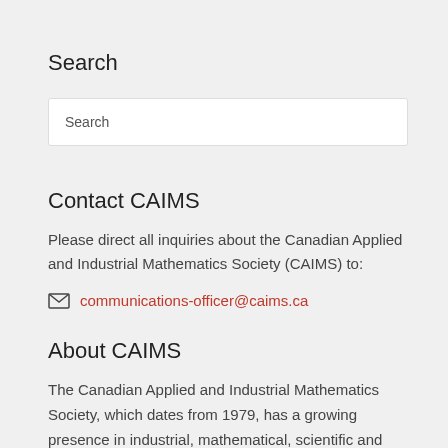Search
Search
Contact CAIMS
Please direct all inquiries about the Canadian Applied and Industrial Mathematics Society (CAIMS) to:
communications-officer@caims.ca
About CAIMS
The Canadian Applied and Industrial Mathematics Society, which dates from 1979, has a growing presence in industrial, mathematical, scientific and technological